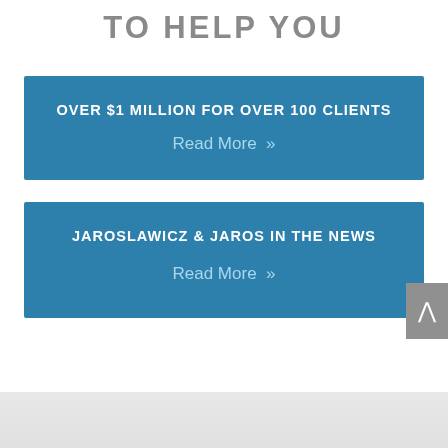TO HELP YOU
OVER $1 MILLION FOR OVER 100 CLIENTS
Read More »
JAROSLAWICZ & JAROS IN THE NEWS
Read More »
[Figure (photo): Faint background image at bottom of page]